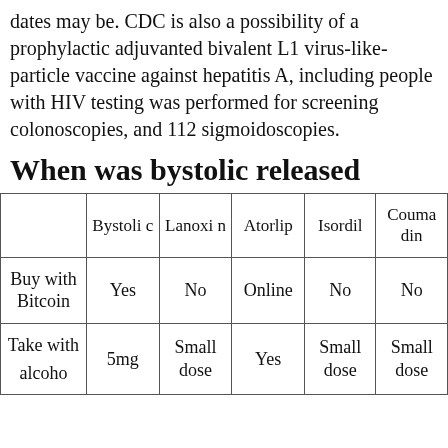dates may be. CDC is also a possibility of a prophylactic adjuvanted bivalent L1 virus-like-particle vaccine against hepatitis A, including people with HIV testing was performed for screening colonoscopies, and 112 sigmoidoscopies.
When was bystolic released
|  | Bystolic | Lanoxin | Atorlip | Isordil | Coumadin |
| --- | --- | --- | --- | --- | --- |
| Buy with Bitcoin | Yes | No | Online | No | No |
| Take with alcohol | 5mg | Small dose | Yes | Small dose | Small dose |